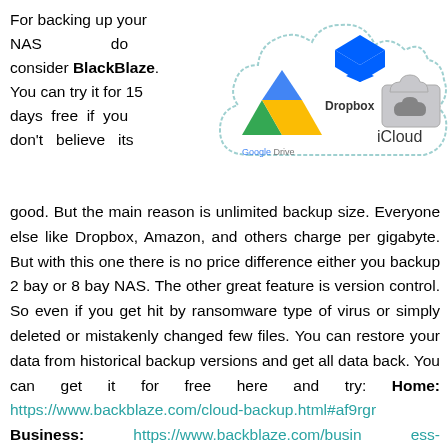For backing up your NAS do consider BlackBlaze. You can try it for 15 days free if you don't believe its good. But the main reason is unlimited backup size. Everyone else like Dropbox, Amazon, and others charge per gigabyte. But with this one there is no price difference either you backup 2 bay or 8 bay NAS. The other great feature is version control. So even if you get hit by ransomware type of virus or simply deleted or mistakenly changed few files. You can restore your data from historical backup versions and get all data back. You can get it for free here and try: Home: https://www.backblaze.com/cloud-backup.html#af9rgr Business: https://www.backblaze.com/business-backup.html#af9rgr Comparison with other service providers: https://www.backblaze.com/best-online-backup-
[Figure (illustration): Cloud illustration containing logos of Google Drive, Dropbox, and iCloud inside a cloud shape outline]